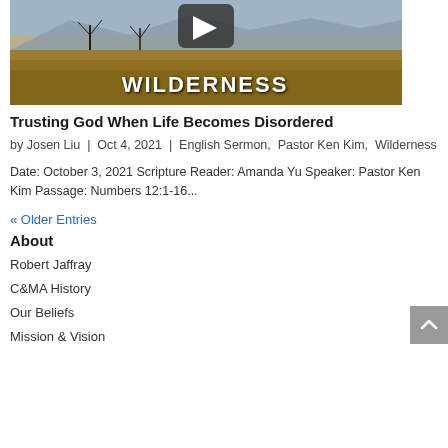[Figure (photo): Wilderness landscape thumbnail image with dry grassland, bare trees, mountains in background, and the text 'WILDERNESS' overlaid in white capital letters. A play button icon is visible at the top center.]
Trusting God When Life Becomes Disordered
by Josen Liu | Oct 4, 2021 | English Sermon, Pastor Ken Kim, Wilderness
Date: October 3, 2021 Scripture Reader: Amanda Yu Speaker: Pastor Ken Kim Passage: Numbers 12:1-16...
« Older Entries
About
Robert Jaffray
C&MA History
Our Beliefs
Mission & Vision